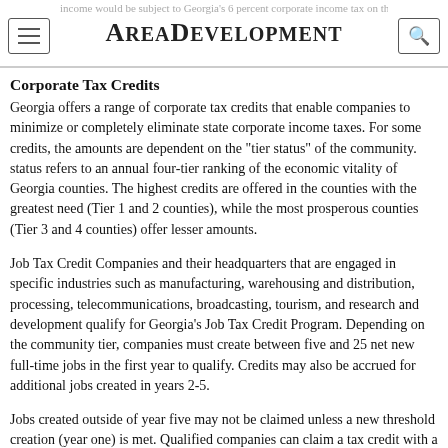AreaDevelopment
Corporate Tax Credits
Georgia offers a range of corporate tax credits that enable companies to minimize or completely eliminate state corporate income taxes. For some credits, the amounts are dependent on the "tier status" of the community. status refers to an annual four-tier ranking of the economic vitality of Georgia counties. The highest credits are offered in the counties with the greatest need (Tier 1 and 2 counties), while the most prosperous counties (Tier 3 and 4 counties) offer lesser amounts.
Job Tax Credit Companies and their headquarters that are engaged in specific industries such as manufacturing, warehousing and distribution, processing, telecommunications, broadcasting, tourism, and research and development qualify for Georgia's Job Tax Credit Program. Depending on the community tier, companies must create between five and 25 net new full-time jobs in the first year to qualify. Credits may also be accrued for additional jobs created in years 2-5.
Jobs created outside of year five may not be claimed unless a new threshold creation (year one) is met. Qualified companies can claim a tax credit with a value of $750-$3,500 per job per year beginning with the first taxable year in which the new job is created and for the following four years the job is maintained, plus an additional $500 credit for hiring in enterprise zones.